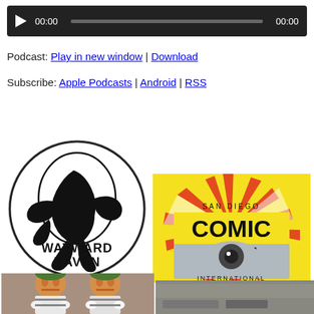[Figure (other): Audio player widget with play button, time display 00:00, progress bar, and end time 00:00 on dark background]
Podcast: Play in new window | Download
Subscribe: Apple Podcasts | Android | RSS
[Figure (logo): Wayward Raven .com circular logo with raven silhouette in black and white]
[Figure (photo): San Diego Comic-Con International logo on yellow, red and white starburst background with stylized eye graphic]
[Figure (photo): Two Oompa Loompa characters from Willy Wonka in orange face makeup and green hair]
[Figure (photo): Partial view of another image at bottom right, partially cut off]